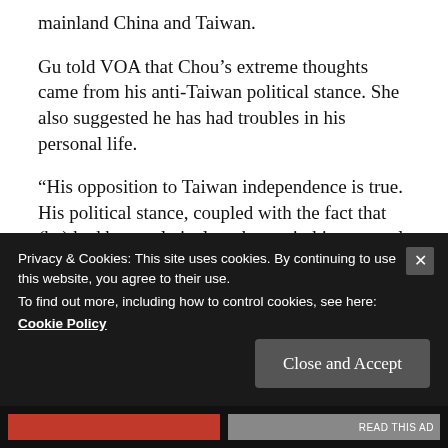mainland China and Taiwan.
Gu told VOA that Chou’s extreme thoughts came from his anti-Taiwan political stance. She also suggested he has had troubles in his personal life.
“His opposition to Taiwan independence is true. His political stance, coupled with the fact that (he) had been relatively unhappy in his personal life, might have led to his extreme thinking,” she said.
The local Las Vegas Chinese News Network
Privacy & Cookies: This site uses cookies. By continuing to use this website, you agree to their use.
To find out more, including how to control cookies, see here:
Cookie Policy
Close and Accept